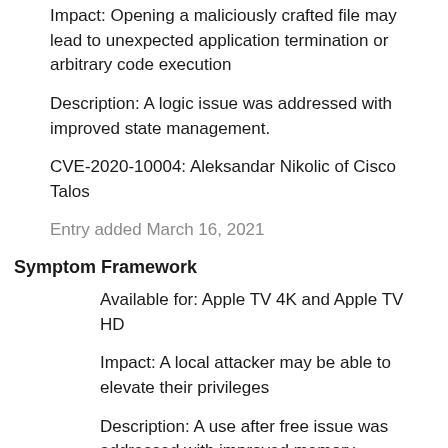Impact: Opening a maliciously crafted file may lead to unexpected application termination or arbitrary code execution
Description: A logic issue was addressed with improved state management.
CVE-2020-10004: Aleksandar Nikolic of Cisco Talos
Entry added March 16, 2021
Symptom Framework
Available for: Apple TV 4K and Apple TV HD
Impact: A local attacker may be able to elevate their privileges
Description: A use after free issue was addressed with improved memory